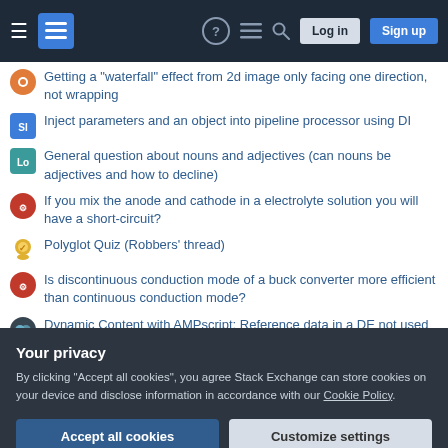Stack Exchange navigation header with Log in and Sign up buttons
Getting a "waterfall" effect from 2d image only facing one direction, not wrapping
Inject parameters and an object into pipeline processor using DI
General question about nouns and adjectives (can nouns be adjectives and how to decline)
If you mix the anode and cathode in a electrolyte solution you will have a short-circuit?
Polyglot Quiz (Robbers' thread)
Is discontinuous conduction mode of a buck converter more efficient than continuous conduction mode?
Dynamic Content with AMPscript: Reference data in a DE not used for sending
Your privacy
By clicking "Accept all cookies", you agree Stack Exchange can store cookies on your device and disclose information in accordance with our Cookie Policy.
Accept all cookies   Customize settings
How to publish results of master theses